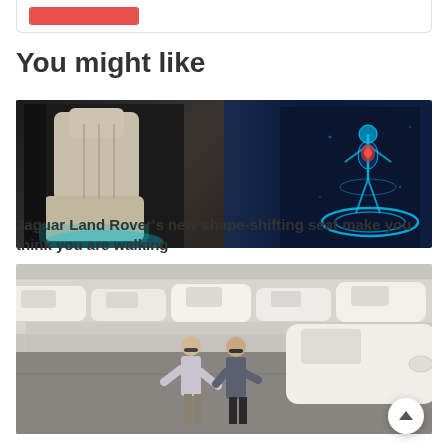[Figure (other): Partial top card with red button visible at top of page]
You might like
[Figure (photo): Jaguar Land Rover shape-shifting car seat on left, glowing digital human figure on dark blue background on right]
Jaguar Land Rover's new shape-shifting seat make you think you are walking
[Figure (photo): Two men in business casual attire shaking hands or talking in a car dealership parking lot filled with white cars]